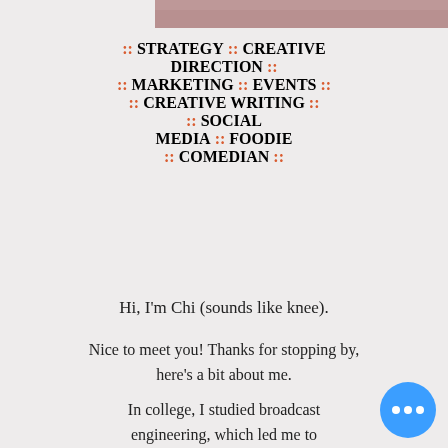[Figure (photo): Partial photo of a person's face/hair at the top of the page, cropped to a strip]
:: STRATEGY :: CREATIVE DIRECTION :: MARKETING :: EVENTS :: CREATIVE WRITING :: SOCIAL MEDIA :: FOODIE :: COMEDIAN ::
Hi, I'm Chi (sounds like knee).
Nice to meet you! Thanks for stopping by, here's a bit about me.
In college, I studied broadcast engineering, which led me to opportunities working for a local radio